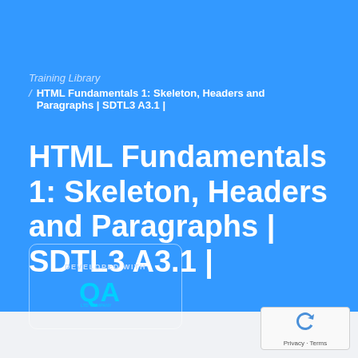Training Library
/ HTML Fundamentals 1: Skeleton, Headers and Paragraphs | SDTL3 A3.1 |
HTML Fundamentals 1: Skeleton, Headers and Paragraphs | SDTL3 A3.1 |
[Figure (logo): DEVELOPED WITH QA logo badge in a rounded rectangle border]
[Figure (logo): reCAPTCHA icon with Privacy - Terms text]